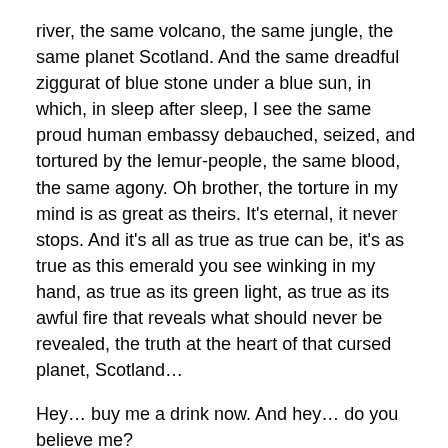river, the same volcano, the same jungle, the same planet Scotland. And the same dreadful ziggurat of blue stone under a blue sun, in which, in sleep after sleep, I see the same proud human embassy debauched, seized, and tortured by the lemur-people, the same blood, the same agony. Oh brother, the torture in my mind is as great as theirs. It’s eternal, it never stops. And it’s all as true as true can be, it’s as true as this emerald you see winking in my hand, as true as its green light, as true as its awful fire that reveals what should never be revealed, the truth at the heart of that cursed planet, Scotland…
Hey… buy me a drink now. And hey… do you believe me?
Do you believe me?
Do you?